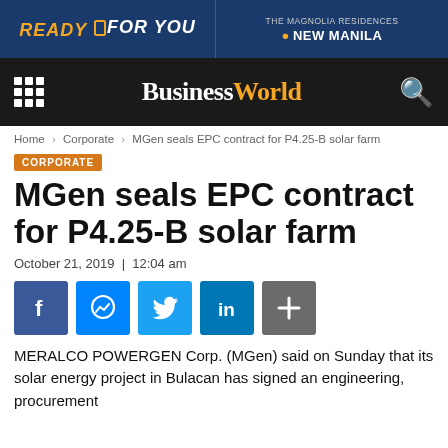[Figure (screenshot): Advertisement banner with dark blue background. Left side: 'READY FOR YOU' text in orange/white italic bold. Right side: 'THE MAGNOLIA RESIDENCES NEW MANILA' text in white.]
BusinessWorld
Home › Corporate › MGen seals EPC contract for P4.25-B solar farm
CORPORATE
MGen seals EPC contract for P4.25-B solar farm
October 21, 2019  |  12:04 am
[Figure (infographic): Social media sharing icons row: Facebook, Messenger, Twitter, LinkedIn, More (plus sign). Each icon in a colored square button.]
MERALCO POWERGEN Corp. (MGen) said on Sunday that its solar energy project in Bulacan has signed an engineering, procurement